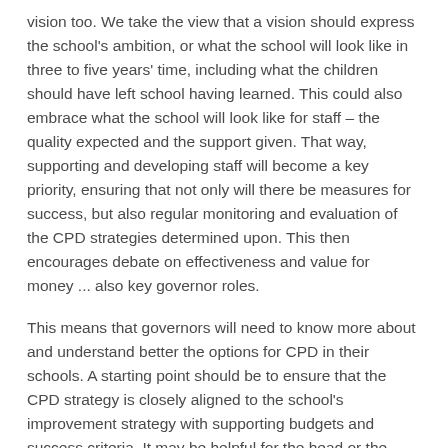vision too.  We take the view that a vision should express the school's ambition, or what the school will look like in three to five years' time, including what the children should have left school having learned.  This could also embrace what the school will look like for staff – the quality expected and the support given.  That way, supporting and developing staff will become a key priority, ensuring that not only will there be measures for success, but also regular monitoring and evaluation of the CPD strategies determined upon.  This then encourages debate on effectiveness and value for money ... also key governor roles.
This means that governors will need to know more about and understand better the options for CPD in their schools.  A starting point should be to ensure that the CPD strategy is closely aligned to the school's improvement strategy with supporting budgets and success criteria.  It may be helpful for the head or the senior leader with responsibility for CPD to give a